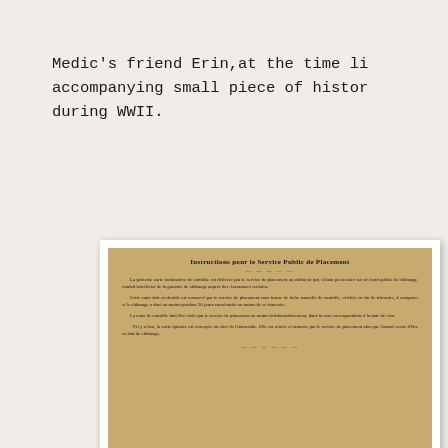Medic's friend Erin,at the time li... accompanying small piece of histor... during WWII.
[Figure (photo): Aged yellowed document titled 'Instructions pour le Service Public de Placement' with French text body paragraphs, shown as a historical artifact from WWII era]